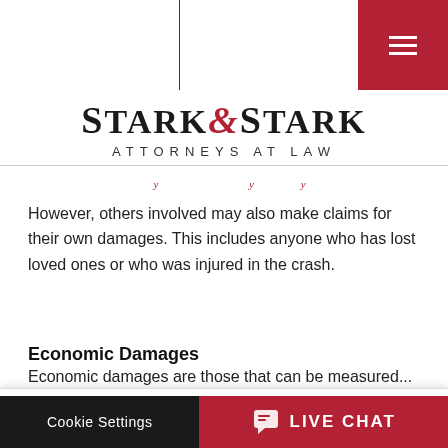ABOUT US | CONTACT US | Menu
[Figure (logo): Stark & Stark Attorneys at Law logo]
However, others involved may also make claims for their own damages. This includes anyone who has lost loved ones or who was injured in the crash.
Economic Damages
Economic damages are those that can be measured...
This website uses cookies to improve your experience. We'll assume you're ok with this, but you can opt-out if you wish.
Cookie Settings | LIVE CHAT